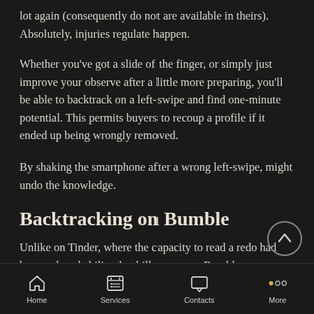lot again (consequently do not are available in theirs). Absolutely, injuries regulate happen.
Whether you've got a slide of the finger, or simply just improve your observe after a little more preparing, you'll be able to backtrack on a left-swipe and find one-minute potential. This permits buyers to recoup a profile if it ended up being wrongly removed.
By shaking the smartphone after a wrong left-swipe, might undo the knowledge.
Backtracking on Bumble
Unlike on Tinder, where the capacity to read a redo had been reduced ability that bills more, on Bumble you are able to backtrack no cost. It is also as basic cake. Any time you view
Home | Services | Contacts | More